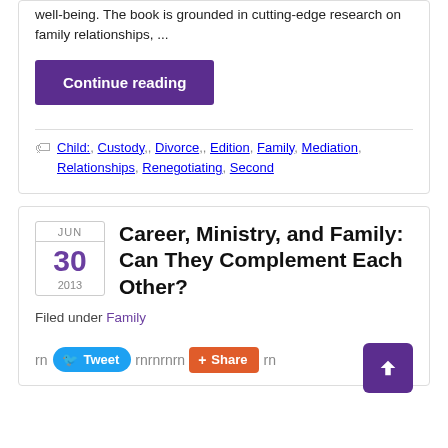well-being. The book is grounded in cutting-edge research on family relationships, ...
Continue reading
Child:, Custody,, Divorce,, Edition, Family, Mediation, Relationships, Renegotiating, Second
Career, Ministry, and Family: Can They Complement Each Other?
Filed under Family
rn
Tweet rnrnrnrn Share rn